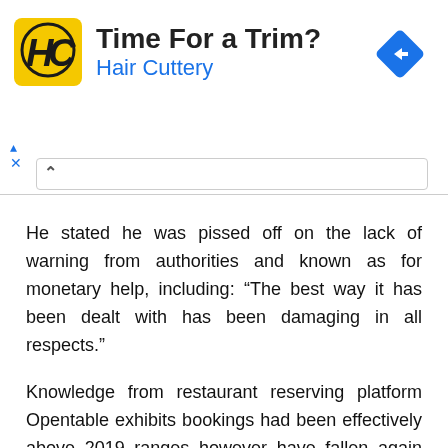[Figure (logo): Hair Cuttery advertisement banner with yellow HC logo, title 'Time For a Trim?', subtitle 'Hair Cuttery', and a blue diamond navigation arrow icon on the right.]
He stated he was pissed off on the lack of warning from authorities and known as for monetary help, including: “The best way it has been dealt with has been damaging in all respects.”
Knowledge from restaurant reserving platform Opentable exhibits bookings had been effectively above 2019 ranges however have fallen again sharply prior to now two weeks. Commerce physique UKHospitality estimates revenues throughout the business might be down 40 per cent in December.
At Heaney’s restaurant in Cardiff, proprietor Tommy Heaney